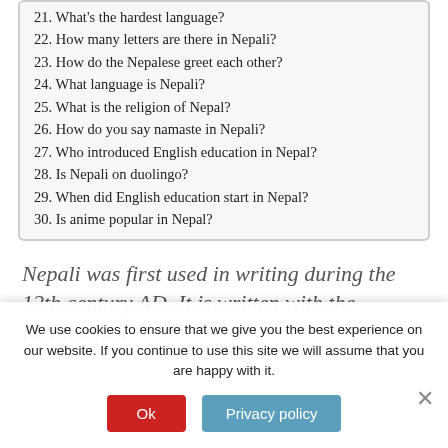21. What's the hardest language?
22. How many letters are there in Nepali?
23. How do the Nepalese greet each other?
24. What language is Nepali?
25. What is the religion of Nepal?
26. How do you say namaste in Nepali?
27. Who introduced English education in Nepal?
28. Is Nepali on duolingo?
29. When did English education start in Nepal?
30. Is anime popular in Nepal?
Nepali was first used in writing during the 12th century AD. It is written with the Devanagari
We use cookies to ensure that we give you the best experience on our website. If you continue to use this site we will assume that you are happy with it.
Ok
Privacy policy